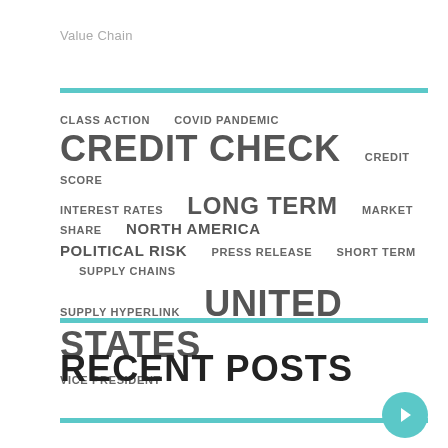Value Chain
[Figure (infographic): Tag cloud / word cloud containing terms: CLASS ACTION, COVID PANDEMIC, CREDIT CHECK (largest), CREDIT SCORE, INTEREST RATES, LONG TERM (large), MARKET SHARE, NORTH AMERICA, POLITICAL RISK, PRESS RELEASE, SHORT TERM, SUPPLY CHAINS, SUPPLY HYPERLINK, UNITED STATES (largest), VICE PRESIDENT]
RECENT POSTS